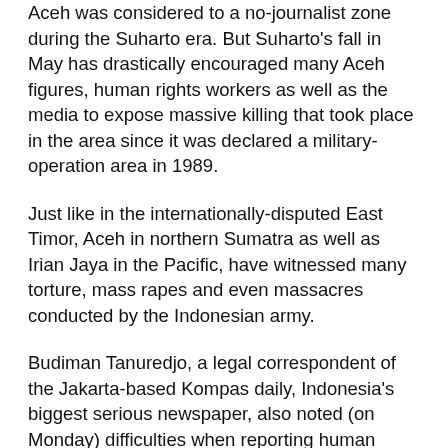Aceh was considered to a no-journalist zone during the Suharto era. But Suharto's fall in May has drastically encouraged many Aceh figures, human rights workers as well as the media to expose massive killing that took place in the area since it was declared a military-operation area in 1989.
Just like in the internationally-disputed East Timor, Aceh in northern Sumatra as well as Irian Jaya in the Pacific, have witnessed many torture, mass rapes and even massacres conducted by the Indonesian army.
Budiman Tanuredjo, a legal correspondent of the Jakarta-based Kompas daily, Indonesia's biggest serious newspaper, also noted (on Monday) difficulties when reporting human rights abuses, saying that some of his colleagues had recently received threats through their beepers, handphones or even being tailed by intelligent people.
"When the Dili massacre took place in November 1991, we had to do our best to write our reports. Now it is easier to report the Aceh case," said Budiman, adding that he had